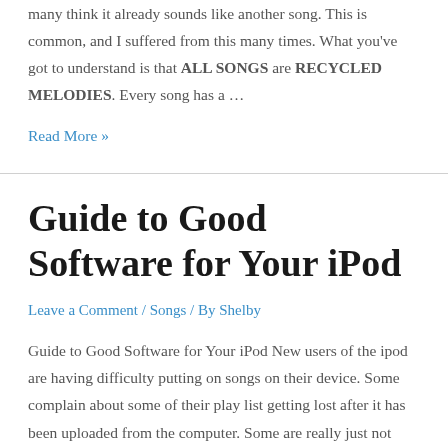many think it already sounds like another song. This is common, and I suffered from this many times. What you've got to understand is that ALL SONGS are RECYCLED MELODIES. Every song has a …
Read More »
Guide to Good Software for Your iPod
Leave a Comment / Songs / By Shelby
Guide to Good Software for Your iPod New users of the ipod are having difficulty putting on songs on their device. Some complain about some of their play list getting lost after it has been uploaded from the computer. Some are really just not used to it and are having trouble with the very process.